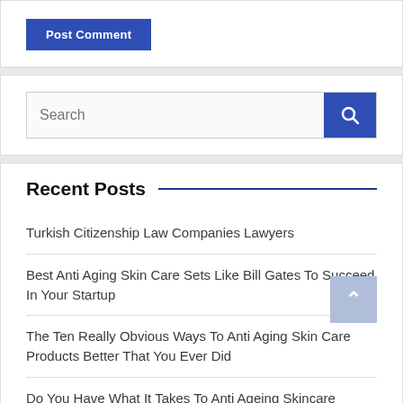[Figure (screenshot): Post Comment button (blue background, white text, partially cropped at top)]
[Figure (screenshot): Search input field with blue search button containing magnifying glass icon]
Recent Posts
Turkish Citizenship Law Companies Lawyers
Best Anti Aging Skin Care Sets Like Bill Gates To Succeed In Your Startup
The Ten Really Obvious Ways To Anti Aging Skin Care Products Better That You Ever Did
Do You Have What It Takes To Anti Ageing Skincare